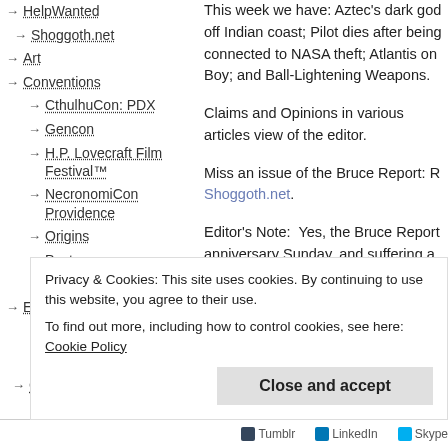→ HelpWanted
→ Shoggoth.net
→ Art
→ Conventions
→ CthulhuCon: PDX
→ Gencon
→ H.P. Lovecraft Film Festival™
→ NecronomiCon Providence
→ Origins
→ Past
→ PulpCon
→ Editorials
→ H.P. Lovecraft
→ Interviews
→ Creatures
This week we have: Aztec's dark god off Indian coast; Pilot dies after being connected to NASA theft; Atlantis on Boy; and Ball-Lightening Weapons.
Claims and Opinions in various articles view of the editor.
Miss an issue of the Bruce Report: R Shoggoth.net.
Editor's Note:  Yes, the Bruce Report anniversary Sunday, and suffering a bit of an accident yesterday delayed Continue reading...
Privacy & Cookies: This site uses cookies. By continuing to use this website, you agree to their use.
To find out more, including how to control cookies, see here: Cookie Policy
Close and accept
Tumblr   LinkedIn   Skype